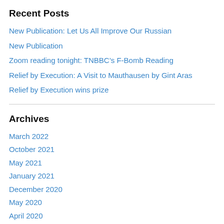Recent Posts
New Publication: Let Us All Improve Our Russian
New Publication
Zoom reading tonight: TNBBC’s F-Bomb Reading
Relief by Execution: A Visit to Mauthausen by Gint Aras
Relief by Execution wins prize
Archives
March 2022
October 2021
May 2021
January 2021
December 2020
May 2020
April 2020
March 2020
January 2020
December 2019